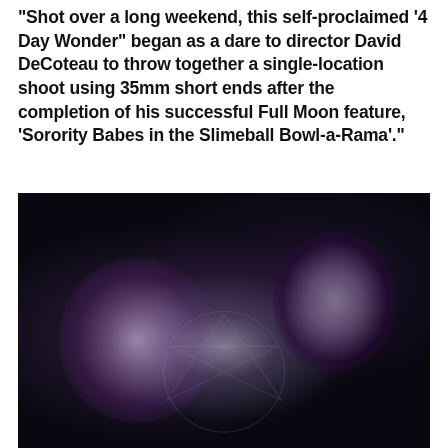“Shot over a long weekend, this self-proclaimed ‘4 Day Wonder’ began as a dare to director David DeCoteau to throw together a single-location shoot using 35mm short ends after the completion of his successful Full Moon feature, ‘Sorority Babes in the Slimeball Bowl-a-Rama’.”
[Figure (photo): Dark horror film still showing two figures entangled in white string/tendrils lying on a dark surface with a pentagram circle visible beneath them, shot from above in blue-purple low-key lighting]